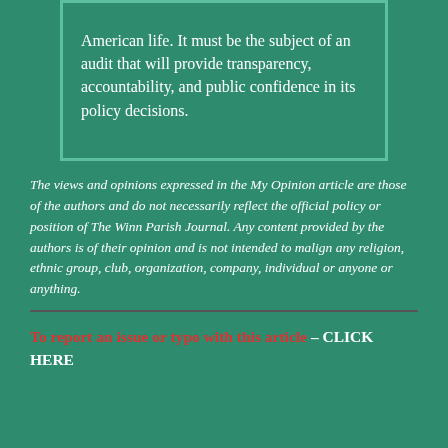American life. It must be the subject of an audit that will provide transparency, accountability, and public confidence in its policy decisions.
The views and opinions expressed in the My Opinion article are those of the authors and do not necessarily reflect the official policy or position of The Winn Parish Journal. Any content provided by the authors is of their opinion and is not intended to malign any religion, ethnic group, club, organization, company, individual or anyone or anything.
To report an issue or typo with this article – CLICK HERE